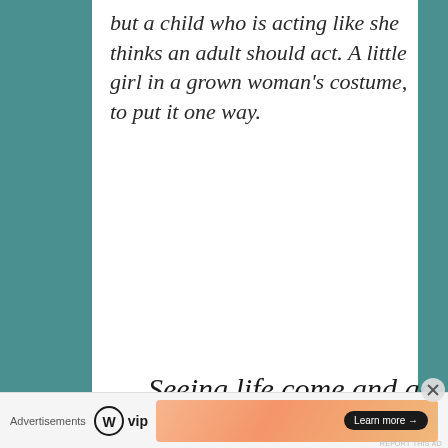but a child who is acting like she thinks an adult should act. A little girl in a grown woman's costume, to put it one way.
Seeing life come and go all the time_ It's never as long as you wish it
[Figure (other): WordPress VIP advertisement banner with gradient orange/salmon background and 'Learn more' button]